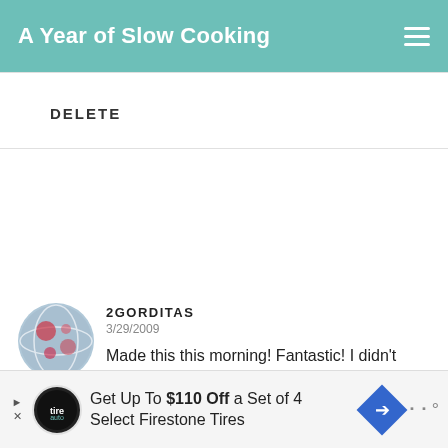A Year of Slow Cooking
DELETE
2GORDITAS
3/29/2009
Made this this morning! Fantastic! I didn't have any red pepper on hand, so I used fresh salsa sauce. Great recipe!
1
DELETE
WHAT'S NEXT → Entertaining With Your...
Get Up To $110 Off a Set of 4 Select Firestone Tires